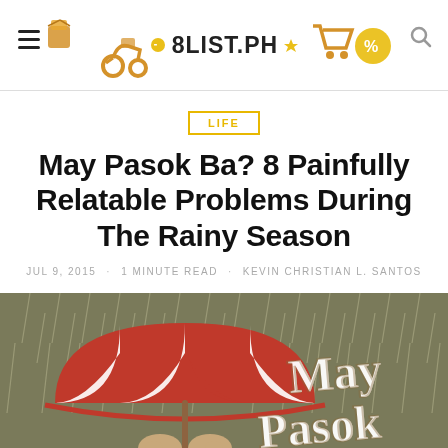8LIST.PH
LIFE
May Pasok Ba? 8 Painfully Relatable Problems During The Rainy Season
JUL 9, 2015 · 1 MINUTE READ · KEVIN CHRISTIAN L. SANTOS
[Figure (illustration): Illustration showing a red and white striped umbrella with cartoon hands holding it in rain, with text 'May Pasok' on a dark brownish-green background with rain streaks]